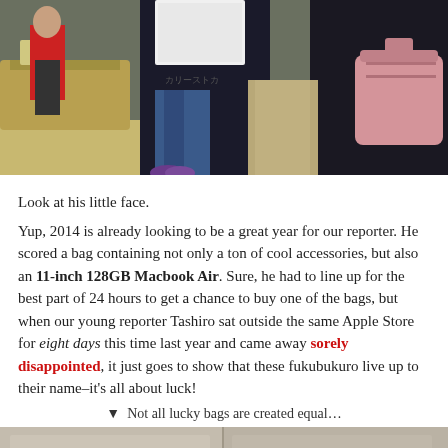[Figure (photo): People inside an Apple Store, one person in a dark jacket holding a large white bag/paper, a woman with a pink handbag, and an Apple Store employee in red in the background.]
Look at his little face.
Yup, 2014 is already looking to be a great year for our reporter. He scored a bag containing not only a ton of cool accessories, but also an 11-inch 128GB Macbook Air. Sure, he had to line up for the best part of 24 hours to get a chance to buy one of the bags, but when our young reporter Tashiro sat outside the same Apple Store for eight days this time last year and came away sorely disappointed, it just goes to show that these fukubukuro live up to their name–it's all about luck!
▼  Not all lucky bags are created equal…
[Figure (photo): Bottom portion showing two beige/tan colored bags or boxes side by side.]